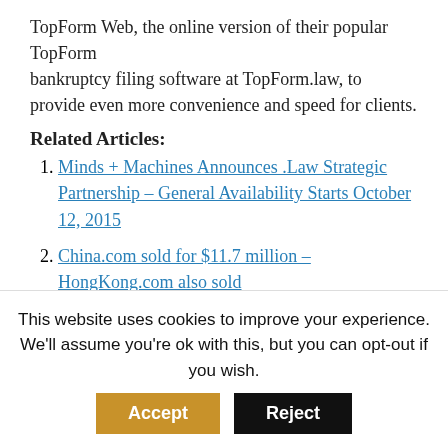TopForm Web, the online version of their popular TopForm bankruptcy filing software at TopForm.law, to provide even more convenience and speed for clients.
Related Articles:
Minds + Machines Announces .Law Strategic Partnership – General Availability Starts October 12, 2015
China.com sold for $11.7 million – HongKong.com also sold
U.S. Court Orders Seizure of “DVD Ripping” Domain Names
[Figure (infographic): Social sharing buttons: Facebook (blue), Twitter (light blue), StumbleUpon (red-orange), LinkedIn (light blue), Pinterest (red)]
This website uses cookies to improve your experience. We'll assume you're ok with this, but you can opt-out if you wish. [Accept] [Reject]